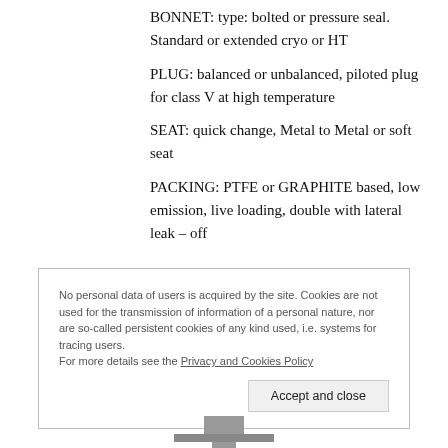BONNET: type: bolted or pressure seal. Standard or extended cryo or HT
PLUG: balanced or unbalanced, piloted plug for class V at high temperature
SEAT: quick change, Metal to Metal or soft seat
PACKING: PTFE or GRAPHITE based, low emission, live loading, double with lateral leak – off
No personal data of users is acquired by the site. Cookies are not used for the transmission of information of a personal nature, nor are so-called persistent cookies of any kind used, i.e. systems for tracing users. For more details see the Privacy and Cookies Policy
Accept and close
[Figure (photo): Bottom portion of a valve component shown in gray metal]